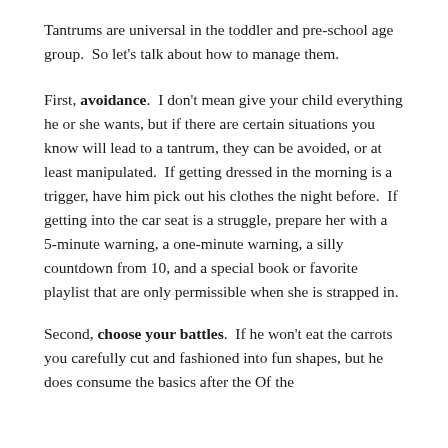Tantrums are universal in the toddler and pre-school age group.  So let's talk about how to manage them.
First, avoidance.  I don't mean give your child everything he or she wants, but if there are certain situations you know will lead to a tantrum, they can be avoided, or at least manipulated.  If getting dressed in the morning is a trigger, have him pick out his clothes the night before.  If getting into the car seat is a struggle, prepare her with a 5-minute warning, a one-minute warning, a silly countdown from 10, and a special book or favorite playlist that are only permissible when she is strapped in.
Second, choose your battles.  If he won't eat the carrots you carefully cut and fashioned into fun shapes, but he does consume the basics after the Of the...